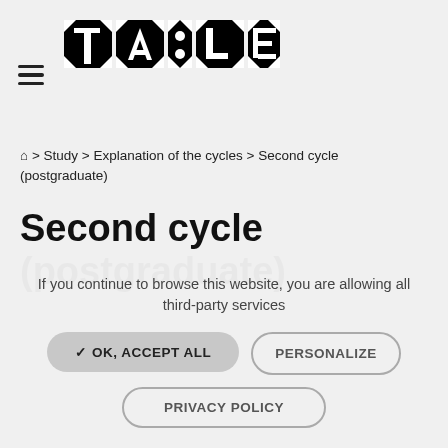[Figure (logo): TALEM logo — decorative black geometric text logo on white background]
⌂ > Study > Explanation of the cycles > Second cycle (postgraduate)
Second cycle (postgraduate)
If you continue to browse this website, you are allowing all third-party services
✓ OK, ACCEPT ALL
PERSONALIZE
PRIVACY POLICY